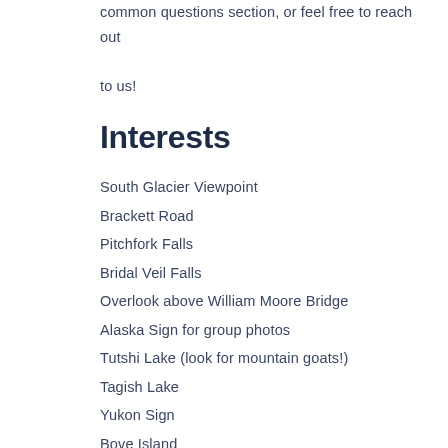common questions section, or feel free to reach out to us!
Interests
South Glacier Viewpoint
Brackett Road
Pitchfork Falls
Bridal Veil Falls
Overlook above William Moore Bridge
Alaska Sign for group photos
Tutshi Lake (look for mountain goats!)
Tagish Lake
Yukon Sign
Bove Island
Carcross Desert
Emerald Lake – Our Turnaround